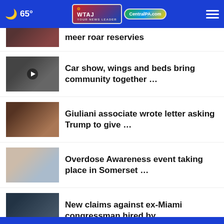65° WTAJ CentralPA.com
Car show, wings and beds bring community together …
Giuliani associate wrote letter asking Trump to give …
Overdose Awareness event taking place in Somerset …
New claims against ex-Miami congressman hired by …
More Stories ›